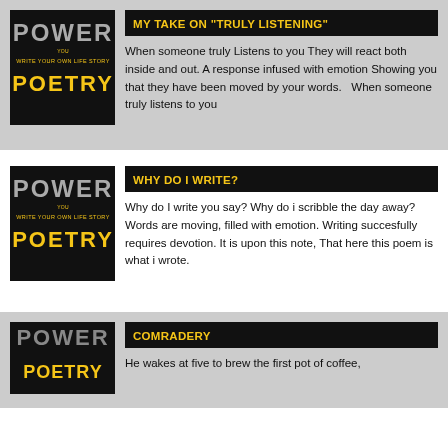[Figure (illustration): Power to Write Your Own Life Story Poetry book cover - black background with stylized text]
MY TAKE ON "TRULY LISTENING"
When someone truly Listens to you They will react both inside and out. A response infused with emotion Showing you that they have been moved by your words.   When someone truly listens to you
[Figure (illustration): Power to Write Your Own Life Story Poetry book cover - black background with stylized text]
WHY DO I WRITE?
Why do I write you say? Why do i scribble the day away? Words are moving, filled with emotion. Writing succesfully requires devotion. It is upon this note, That here this poem is what i wrote.
[Figure (illustration): Power to Write Your Own Life Story Poetry book cover - black background with stylized text]
COMRADERY
He wakes at five to brew the first pot of coffee,